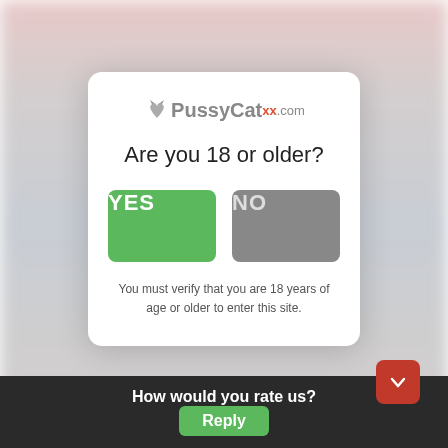[Figure (logo): PussyCatxx.com logo with stylized cat silhouette]
Are you 18 or older?
YES
NO
You must verify that you are 18 years of age or older to enter this site.
How would you rate us?
Reply